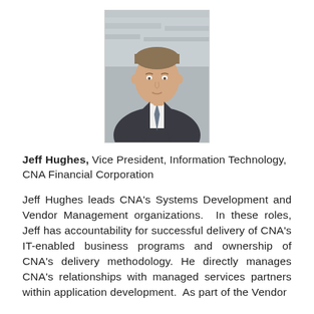[Figure (photo): Headshot photo of Jeff Hughes, a man in a dark suit with a tie, photographed against a stone wall background.]
Jeff Hughes, Vice President, Information Technology, CNA Financial Corporation
Jeff Hughes leads CNA's Systems Development and Vendor Management organizations. In these roles, Jeff has accountability for successful delivery of CNA's IT-enabled business programs and ownership of CNA's delivery methodology. He directly manages CNA's relationships with managed services partners within application development. As part of the Vendor